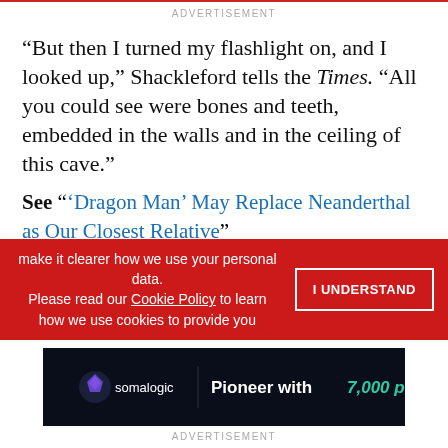ADVERTISEMENT
“But then I turned my flashlight on, and I looked up,” Shackleford tells the Times. “All you could see were bones and teeth, embedded in the walls and in the ceiling of this cave.”
See “‘Dragon Man’ May Replace Neanderthal as Our Closest Relative”
While most of the recovered fossils were from nonhuman mammals, protein fragments taken from
make it clearer how we use your personal data.
Please read our Cookie Policy to learn how we use cookies to provide you
I UNDERSTAND
[Figure (infographic): Somalogic advertisement banner: dark background with logo and text 'Pioneer with 7,000 proteins']
ADVERTISEMENT